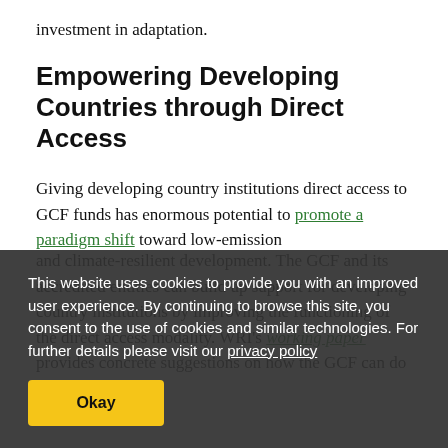investment in adaptation.
Empowering Developing Countries through Direct Access
Giving developing country institutions direct access to GCF funds has enormous potential to promote a paradigm shift toward low-emission and climate-resilient development. The GCF and its accredited entities can build up support for developing country institutions by improving the functioning of the direct access modality. WRI's working paper provides concrete suggestions on how the GCF can do so.
This website uses cookies to provide you with an improved user experience. By continuing to browse this site, you consent to the use of cookies and similar technologies. For further details please visit our privacy policy